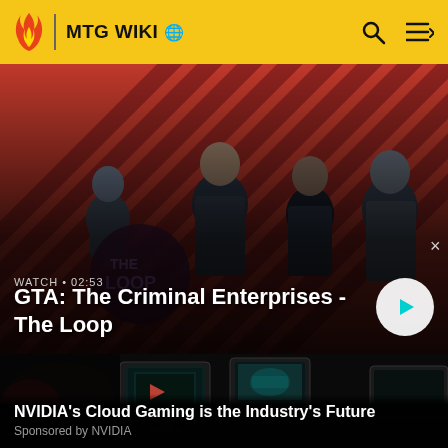MTG WIKI
[Figure (screenshot): GTA The Criminal Enterprises - The Loop video thumbnail with characters on diagonal red stripe background and play button. Label shows WATCH • 02:53]
WATCH • 02:53
GTA: The Criminal Enterprises - The Loop
[Figure (photo): NVIDIA cloud gaming article thumbnail showing gaming monitors/screens in dark setting]
NVIDIA's Cloud Gaming is the Industry's Future
Sponsored by NVIDIA